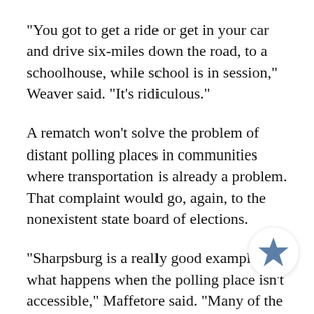"You got to get a ride or get in your car and drive six-miles down the road, to a schoolhouse, while school is in session," Weaver said. "It's ridiculous."
A rematch won't solve the problem of distant polling places in communities where transportation is already a problem. That complaint would go, again, to the nonexistent state board of elections.
"Sharpsburg is a really good example of what happens when the polling place isn't accessible," Maffetore said. "Many of the folks have to get rides because they have no transportation, and the fact there were no ballots illuminates that because